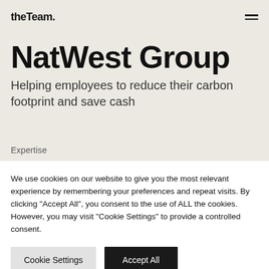theTeam.
NatWest Group
Helping employees to reduce their carbon footprint and save cash
Expertise
We use cookies on our website to give you the most relevant experience by remembering your preferences and repeat visits. By clicking "Accept All", you consent to the use of ALL the cookies. However, you may visit "Cookie Settings" to provide a controlled consent.
Cookie Settings | Accept All